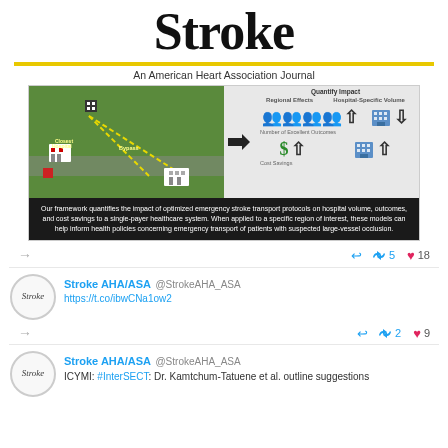Stroke
An American Heart Association Journal
[Figure (infographic): Infographic showing two panels: left panel 'Optimize Stroke Transport Protocols' with a green map showing hospital routing with yellow dashed paths labeled 'Closest Hospital' and 'Bypass'; right panel 'Quantify Impact' split into 'Regional Effects' and 'Hospital-Specific Volume' showing people icons with up arrow for Number of Excellent Outcomes, dollar sign with up arrow for Cost Savings, and building icons with down/up arrows respectively. Black caption box below reads: 'Our framework quantifies the impact of optimized emergency stroke transport protocols on hospital volume, outcomes, and cost savings to a single-payer healthcare system. When applied to a specific region of interest, these models can help inform health policies concerning emergency transport of patients with suspected large-vessel occlusion.']
↔ ↩ 5 ♥ 18
Stroke AHA/ASA @StrokeAHA_ASA
https://t.co/ibwCNa1ow2
↔ ↩ 2 ♥ 9
Stroke AHA/ASA @StrokeAHA_ASA
ICYMI: #InterSECT: Dr. Kamtchum-Tatuene et al. outline suggestions